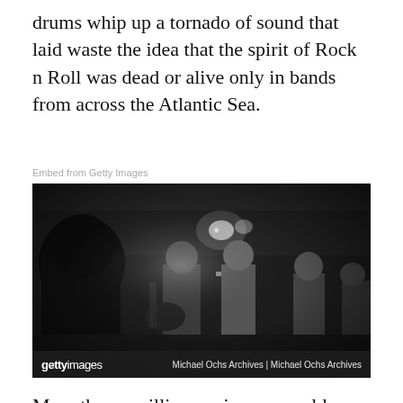drums whip up a tornado of sound that laid waste the idea that the spirit of Rock n Roll was dead or alive only in bands from across the Atlantic Sea.
Embed from Getty Images
[Figure (photo): Black and white concert photograph of a band performing on stage. Multiple musicians visible, including one playing guitar and one at a microphone. Stage lighting visible in the background. Getty Images watermark with credit: Michael Ochs Archives | Michael Ochs Archives]
More than a million copies were sold as Jenny became a